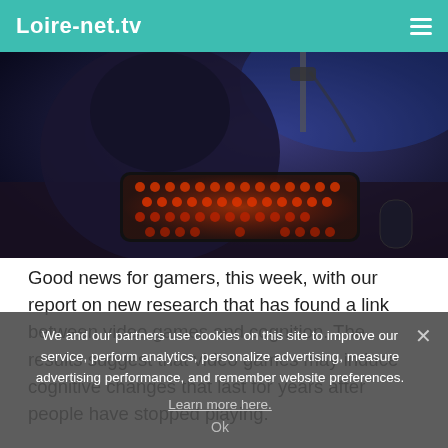Loire-net.tv
[Figure (photo): Dark moody photo of a person in a hoodie sitting at a desk with a glowing red/orange mechanical keyboard in front of a blue-lit monitor]
Good news for gamers, this week, with our report on new research that has found a link between video games and cognition. The results suggest that video games may induce cognitive changes that last for years after people have stopped playing.
"Video games are a perfect recipe for strengthening our cognitive skills, almost without our noticing," says the lead author...
We and our partners use cookies on this site to improve our service, perform analytics, personalize advertising, measure advertising performance, and remember website preferences.
Learn more here.